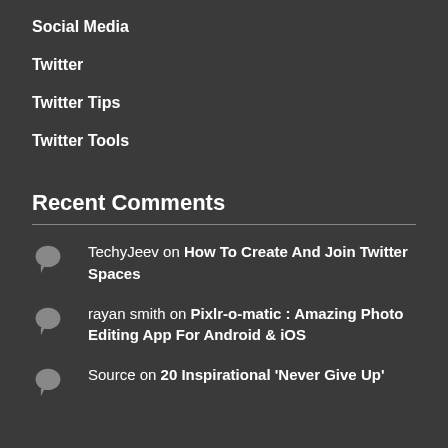Social Media
Twitter
Twitter Tips
Twitter Tools
Recent Comments
TechyJeev on How To Create And Join Twitter Spaces
rayan smith on Pixlr-o-matic : Amazing Photo Editing App For Android & iOS
Source on 20 Inspirational 'Never Give Up'